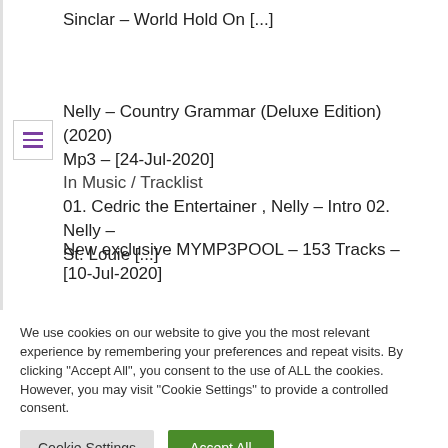Sinclar – World Hold On [...]
Nelly – Country Grammar (Deluxe Edition) (2020) Mp3 – [24-Jul-2020]
In Music / Tracklist
01. Cedric the Entertainer , Nelly – Intro 02. Nelly – St. Louie [...]
New exclusive MYMP3POOL – 153 Tracks – [10-Jul-2020]
We use cookies on our website to give you the most relevant experience by remembering your preferences and repeat visits. By clicking "Accept All", you consent to the use of ALL the cookies. However, you may visit "Cookie Settings" to provide a controlled consent.